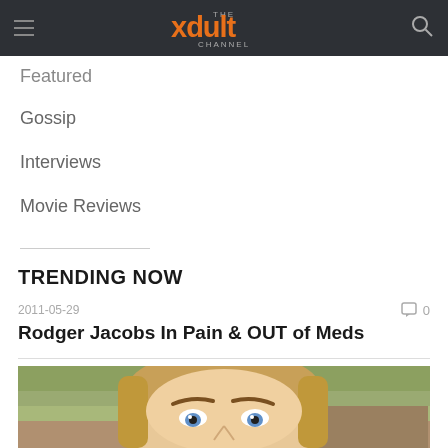THE xdult CHANNEL
Featured
Gossip
Interviews
Movie Reviews
TRENDING NOW
2011-05-29   0
Rodger Jacobs In Pain & OUT of Meds
[Figure (photo): Close-up photo of a blonde woman with blue eyes looking up at the camera, outdoors with green foliage in background]